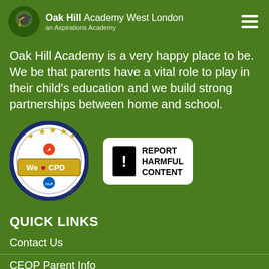Oak Hill Academy West London
an Aspirations Academy
Oak Hill Academy is a very happy place to be. We be that parents have a vital role to play in their child's education and we build strong partnerships between home and school.
[Figure (logo): CPD Champion School badge - circular badge with gold stars, heart logo, 'We Love CPD' text, OLP Outstanding Learning Community badge]
[Figure (logo): Report Harmful Content badge - white rounded rectangle with black exclamation mark icon and REPORT HARMFUL CONTENT text]
QUICK LINKS
Contact Us
CEOP Parent Info
Image gallery